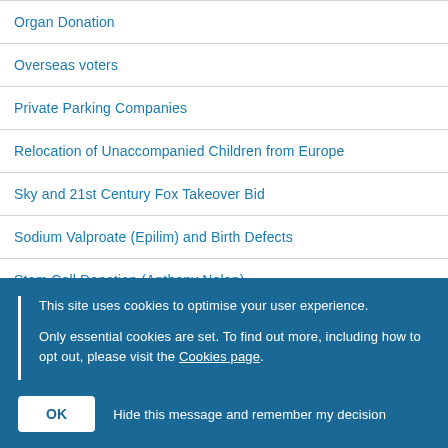Organ Donation
Overseas voters
Private Parking Companies
Relocation of Unaccompanied Children from Europe
Sky and 21st Century Fox Takeover Bid
Sodium Valproate (Epilim) and Birth Defects
Stem Cell Donation (Anthony Nolan)
This site uses cookies to optimise your user experience.

Only essential cookies are set. To find out more, including how to opt out, please visit the Cookies page.
OK   Hide this message and remember my decision